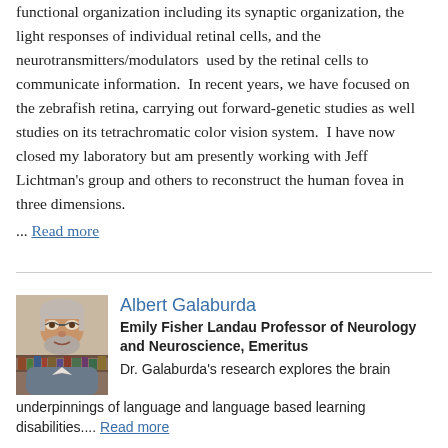functional organization including its synaptic organization, the light responses of individual retinal cells, and the neurotransmitters/modulators used by the retinal cells to communicate information. In recent years, we have focused on the zebrafish retina, carrying out forward-genetic studies as well studies on its tetrachromatic color vision system. I have now closed my laboratory but am presently working with Jeff Lichtman's group and others to reconstruct the human fovea in three dimensions.
... Read more
Albert Galaburda
Emily Fisher Landau Professor of Neurology and Neuroscience, Emeritus
Dr. Galaburda's research explores the brain underpinnings of language and language based learning disabilities.... Read more